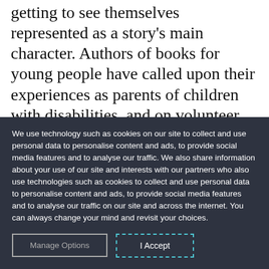getting to see themselves represented as a story's main character. Authors of books for young people have called upon their experiences as parents of children with disabilities, and on volunteer work or extensive research, to create characters who reflect the physical, emotional, and developmental challenges that readers and
We use technology such as cookies on our site to collect and use personal data to personalise content and ads, to provide social media features and to analyse our traffic. We also share information about your use of our site and interests with our partners who also use technologies such as cookies to collect and use personal data to personalise content and ads, to provide social media features and to analyse our traffic on our site and across the internet. You can always change your mind and revisit your choices.
Manage Options
I Accept